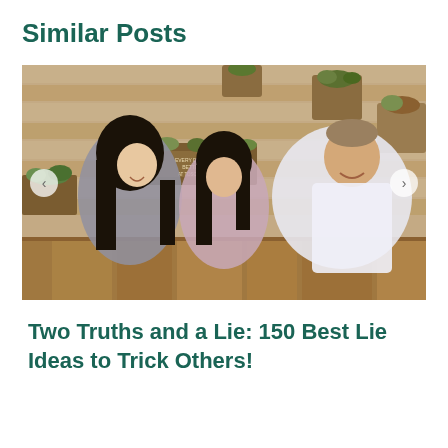Similar Posts
[Figure (photo): A family scene with three people — a woman with long black hair, a young girl with long dark hair, and a man in a white shirt — sitting together at a wooden table, laughing and talking. Behind them is a wooden plank wall with several potted succulent plants mounted on it. A wooden sign reads 'Every Day is Better at Toscana'. Navigation arrows are visible on left and right sides of the image.]
Two Truths and a Lie: 150 Best Lie Ideas to Trick Others!